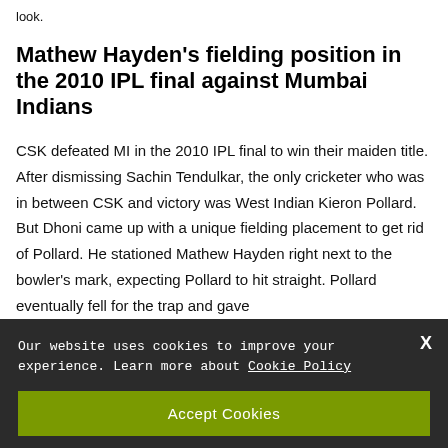look.
Mathew Hayden's fielding position in the 2010 IPL final against Mumbai Indians
CSK defeated MI in the 2010 IPL final to win their maiden title. After dismissing Sachin Tendulkar, the only cricketer who was in between CSK and victory was West Indian Kieron Pollard. But Dhoni came up with a unique fielding placement to get rid of Pollard. He stationed Mathew Hayden right next to the bowler's mark, expecting Pollard to hit straight. Pollard eventually fell for the trap and gave
Our website uses cookies to improve your experience. Learn more about Cookie Policy
Accept Cookies